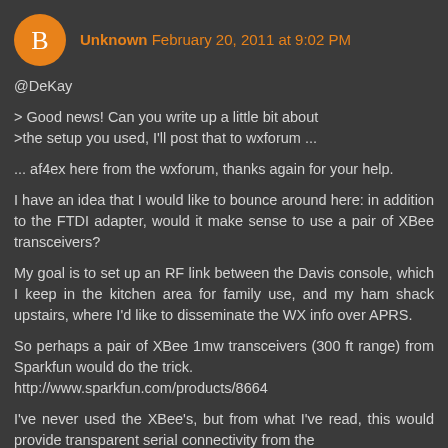Unknown February 20, 2011 at 9:02 PM
@DeKay
> Good news! Can you write up a little bit about
>the setup you used, I'll post that to wxforum ...

... af4ex here from the wxforum, thanks again for your help.

I have an idea that I would like to bounce around here: in addition to the FTDI adapter, would it make sense to use a pair of XBee transceivers?

My goal is to set up an RF link between the Davis console, which I keep in the kitchen area for family use, and my ham shack upstairs, where I'd like to disseminate the WX info over APRS.

So perhaps a pair of XBee 1mw transceivers (300 ft range) from Sparkfun would do the trick.
http://www.sparkfun.com/products/8664

I've never used the XBee's, but from what I've read, this would provide transparent serial connectivity from the